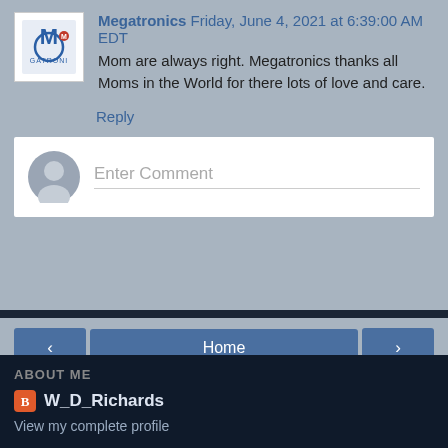Megatronics Friday, June 4, 2021 at 6:39:00 AM EDT
Mom are always right. Megatronics thanks all Moms in the World for there lots of love and care.
Reply
Enter Comment
Home
View web version
ABOUT ME
W_D_Richards
View my complete profile